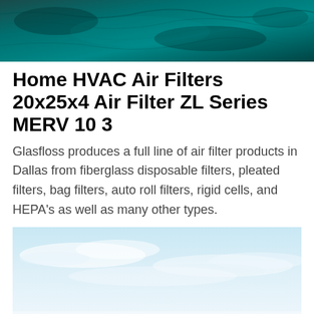[Figure (photo): Dark teal/turquoise water surface photograph used as a decorative header image]
Home HVAC Air Filters 20x25x4 Air Filter ZL Series MERV 10 3
Glasfloss produces a full line of air filter products in Dallas from fiberglass disposable filters, pleated filters, bag filters, auto roll filters, rigid cells, and HEPA's as well as many other types.
[Figure (photo): Light blue sky with subtle clouds, used as a decorative image at the bottom of the page]